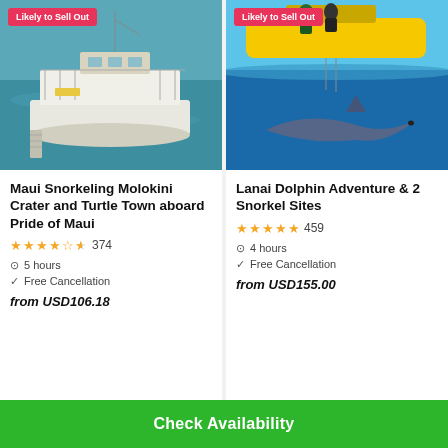[Figure (photo): White catamaran boat on turquoise ocean water with 'Likely to Sell Out' badge]
Maui Snorkeling Molokini Crater and Turtle Town aboard Pride of Maui
★★★★½ 374
⏱ 5 hours
✓ Free Cancellation
from USD106.18
[Figure (photo): Yellow submarine/boat above water with shark visible underwater and 'Likely to Sell Out' badge]
Lanai Dolphin Adventure & 2 Snorkel Sites
★★★★★ 459
⏱ 4 hours
✓ Free Cancellation
from USD155.00
Check Availability